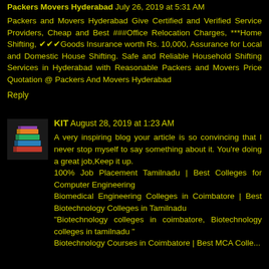Packers Movers Hyderabad  July 26, 2019 at 5:31 AM
Packers and Movers Hyderabad Give Certified and Verified Service Providers, Cheap and Best ###Office Relocation Charges, ***Home Shifting, ✔✔✔Goods Insurance worth Rs. 10,000, Assurance for Local and Domestic House Shifting. Safe and Reliable Household Shifting Services in Hyderabad with Reasonable Packers and Movers Price Quotation @ Packers And Movers Hyderabad
Reply
[Figure (illustration): Stack of colorful books icon used as avatar for KIT commenter]
KIT  August 28, 2019 at 1:23 AM
A very inspiring blog your article is so convincing that I never stop myself to say something about it. You're doing a great job,Keep it up.
100% Job Placement Tamilnadu | Best Colleges for Computer Engineering
Biomedical Engineering Colleges in Coimbatore | Best Biotechnology Colleges in Tamilnadu
"Biotechnology colleges in coimbatore, Biotechnology colleges in tamilnadu "
Biotechnology Courses in Coimbatore | Best MCA Colle...